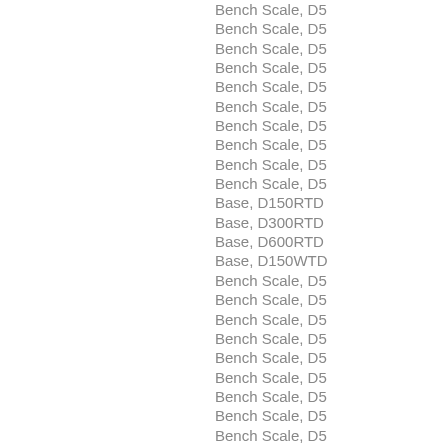Bench Scale, D5
Bench Scale, D5
Bench Scale, D5
Bench Scale, D5
Bench Scale, D5
Bench Scale, D5
Bench Scale, D5
Bench Scale, D5
Bench Scale, D5
Bench Scale, D5
Base, D150RTD
Base, D300RTD
Base, D600RTD
Base, D150WTD
Bench Scale, D5
Bench Scale, D5
Bench Scale, D5
Bench Scale, D5
Bench Scale, D5
Bench Scale, D5
Bench Scale, D5
Bench Scale, D5
Bench Scale, D5
Bench Scale, D5
Bench Scale, D5
Bench Scale, D5
Bench Scale, D5
Bench Scale, D5